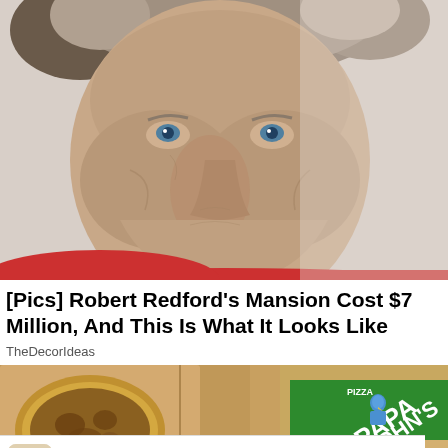[Figure (photo): Close-up photo of an elderly man with white/gray hair and blue eyes, wearing a red shirt, against a light gray background]
[Pics] Robert Redford's Mansion Cost $7 Million, And This Is What It Looks Like
TheDecorIdeas
[Figure (photo): Photo of a Papa John's pizza box with pizza inside, Papa Johns logo visible on the right side]
They Are Coming!
Rollic Games
Download
Ad